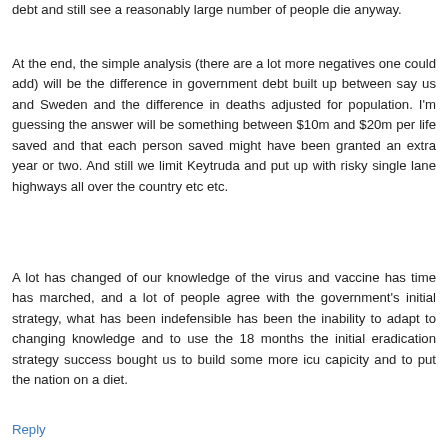debt and still see a reasonably large number of people die anyway.
At the end, the simple analysis (there are a lot more negatives one could add) will be the difference in government debt built up between say us and Sweden and the difference in deaths adjusted for population. I'm guessing the answer will be something between $10m and $20m per life saved and that each person saved might have been granted an extra year or two. And still we limit Keytruda and put up with risky single lane highways all over the country etc etc.
A lot has changed of our knowledge of the virus and vaccine has time has marched, and a lot of people agree with the government's initial strategy, what has been indefensible has been the inability to adapt to changing knowledge and to use the 18 months the initial eradication strategy success bought us to build some more icu capicity and to put the nation on a diet.
Reply